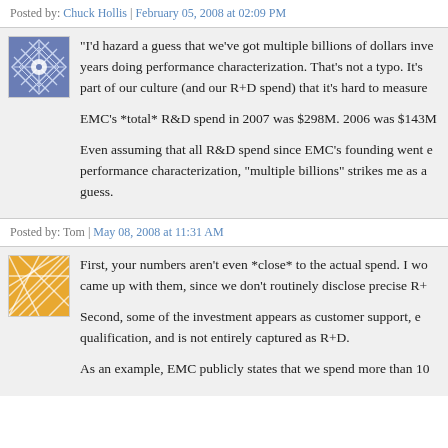Posted by: Chuck Hollis | February 05, 2008 at 02:09 PM
"I'd hazard a guess that we've got multiple billions of dollars inve... years doing performance characterization. That's not a typo. It's... part of our culture (and our R+D spend) that it's hard to measure...

EMC's *total* R&D spend in 2007 was $298M. 2006 was $143M...

Even assuming that all R&D spend since EMC's founding went e... performance characterization, "multiple billions" strikes me as a... guess.
Posted by: Tom | May 08, 2008 at 11:31 AM
First, your numbers aren't even *close* to the actual spend. I wo... came up with them, since we don't routinely disclose precise R+...

Second, some of the investment appears as customer support, e... qualification, and is not entirely captured as R+D.

As an example, EMC publicly states that we spend more than 10...